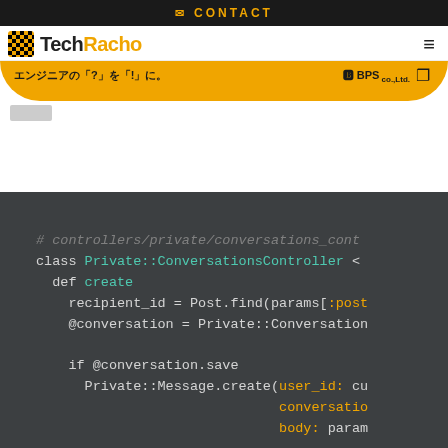CONTACT
[Figure (logo): TechRacho logo with checkered flag icon, yellow and black text. BPS co.,Ltd. logo in yellow banner. Tagline: エンジニアの「?」を「!」に。]
# controllers/private/conversations_cont...
class Private::ConversationsController <
def create
recipient_id = Post.find(params[:post...
@conversation = Private::Conversation...
if @conversation.save
Private::Message.create(user_id: cu...
conversatio...
body: param...
add_to_conversations unless already...
respond_to do |format|